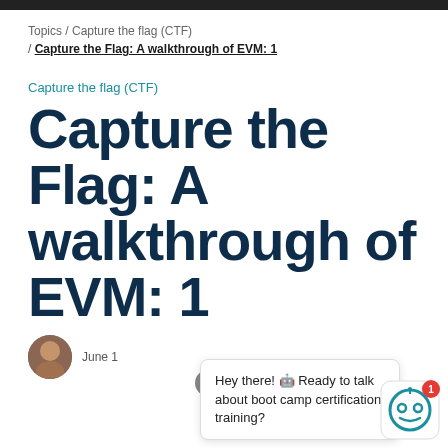Topics / Capture the flag (CTF) / Capture the Flag: A walkthrough of EVM: 1
Capture the flag (CTF)
Capture the Flag: A walkthrough of EVM: 1
Hey there! 🤖 Ready to talk about boot camp certification training?